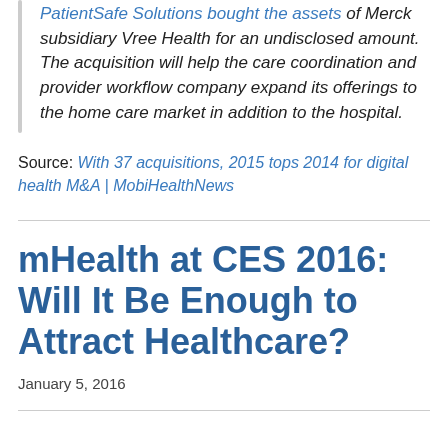PatientSafe Solutions bought the assets of Merck subsidiary Vree Health for an undisclosed amount. The acquisition will help the care coordination and provider workflow company expand its offerings to the home care market in addition to the hospital.
Source: With 37 acquisitions, 2015 tops 2014 for digital health M&A | MobiHealthNews
mHealth at CES 2016: Will It Be Enough to Attract Healthcare?
January 5, 2016